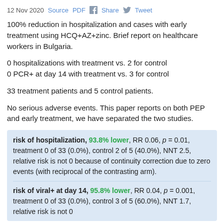12 Nov 2020   Source   PDF   Share   Tweet
100% reduction in hospitalization and cases with early treatment using HCQ+AZ+zinc. Brief report on healthcare workers in Bulgaria.
0 hospitalizations with treatment vs. 2 for control
0 PCR+ at day 14 with treatment vs. 3 for control
33 treatment patients and 5 control patients.
No serious adverse events. This paper reports on both PEP and early treatment, we have separated the two studies.
risk of hospitalization, 93.8% lower, RR 0.06, p = 0.01, treatment 0 of 33 (0.0%), control 2 of 5 (40.0%), NNT 2.5, relative risk is not 0 because of continuity correction due to zero events (with reciprocal of the contrasting arm).
risk of viral+ at day 14, 95.8% lower, RR 0.04, p = 0.001, treatment 0 of 33 (0.0%), control 3 of 5 (60.0%), NNT 1.7, relative risk is not 0